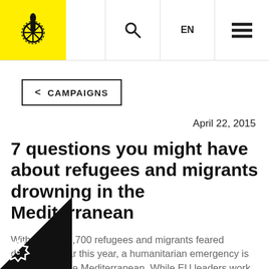[Figure (logo): Amnesty International logo on yellow background in top-left nav bar]
EN  ☰
< CAMPAIGNS
April 22, 2015
7 questions you might have about refugees and migrants drowning in the Mediterranean
With around 1,700 refugees and migrants feared drowned so far this year, a humanitarian emergency is unfolding in the Mediterranean. While EU leaders work out how to deal with it, we look at why this is happening, and what we can do to help.